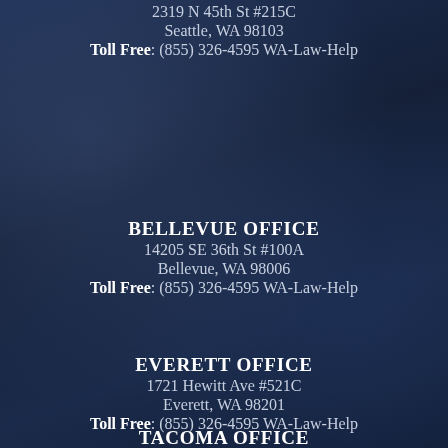2319 N 45th St #215C
Seattle, WA 98103
Toll Free: (855) 326-4595 WA-Law-Help
BELLEVUE OFFICE
14205 SE 36th St #100A
Bellevue, WA 98006
Toll Free: (855) 326-4595 WA-Law-Help
EVERETT OFFICE
1721 Hewitt Ave #521C
Everett, WA 98201
Toll Free: (855) 326-4595 WA-Law-Help
TACOMA OFFICE
201 St. Helens Ave #204B
Tacoma, WA 98402